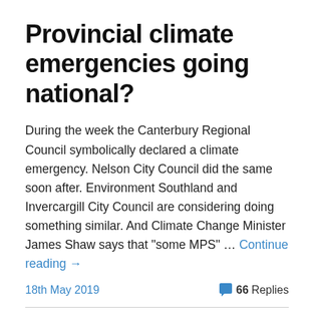Provincial climate emergencies going national?
During the week the Canterbury Regional Council symbolically declared a climate emergency. Nelson City Council did the same soon after. Environment Southland and Invercargill City Council are considering doing something similar. And Climate Change Minister James Shaw says that "some MPS" … Continue reading →
18th May 2019
💬 66 Replies
Iwi seats on Otago Regional Council
The Otago Regional Council has reported that...